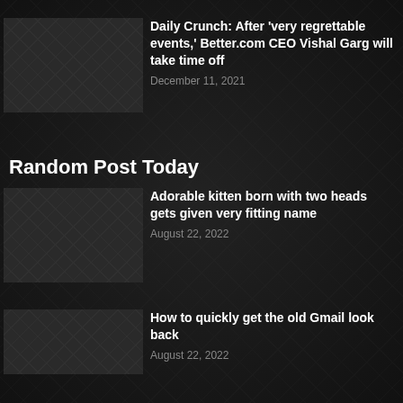Daily Crunch: After ‘very regrettable events,’ Better.com CEO Vishal Garg will take time off
December 11, 2021
Random Post Today
Adorable kitten born with two heads gets given very fitting name
August 22, 2022
How to quickly get the old Gmail look back
August 22, 2022
Fearless Academy: Digital skills training